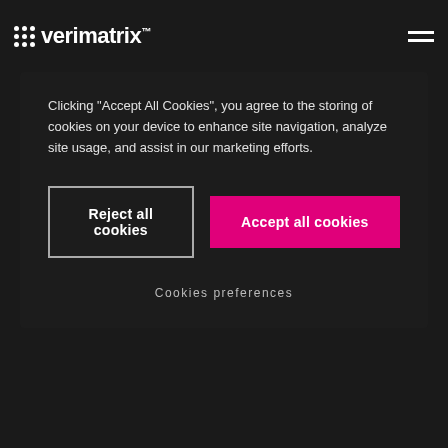Verimatrix
Clicking “Accept All Cookies”, you agree to the storing of cookies on your device to enhance site navigation, analyze site usage, and assist in our marketing efforts.
Reject all cookies
Accept all cookies
Cookies preferences
This shift means that the second the HHS declares the public health emergency “officially over” and normal behavior